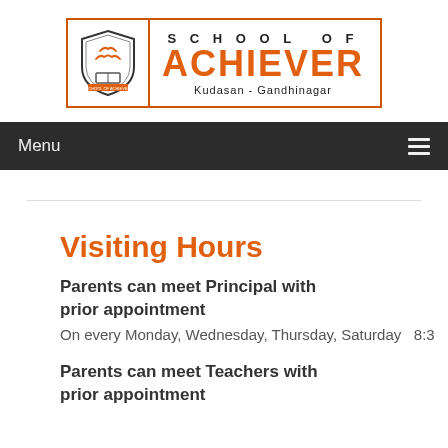[Figure (logo): School of Achiever logo with shield emblem, text 'SCHOOL OF ACHIEVER Kudasan - Gandhinagar']
Menu
Visiting Hours
Parents can meet Principal with prior appointment
On every Monday, Wednesday, Thursday, Saturday   8:3
Parents can meet Teachers with prior appointment